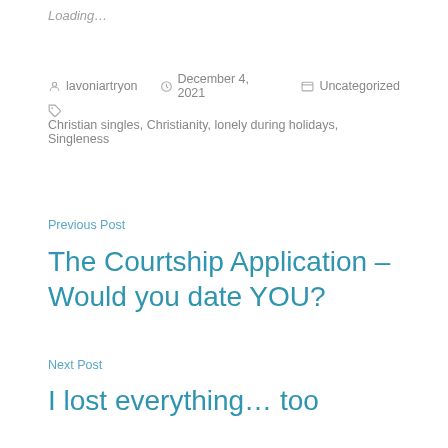Loading…
Posted by lavoniartryon   December 4, 2021   Uncategorized
Christian singles, Christianity, lonely during holidays, Singleness
Previous Post
The Courtship Application – Would you date YOU?
Next Post
I lost everything… too